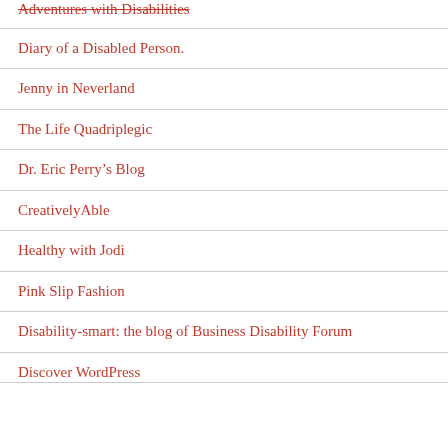Adventures with Disabilities
Diary of a Disabled Person.
Jenny in Neverland
The Life Quadriplegic
Dr. Eric Perry's Blog
CreativelyAble
Healthy with Jodi
Pink Slip Fashion
Disability-smart: the blog of Business Disability Forum
Discover WordPress